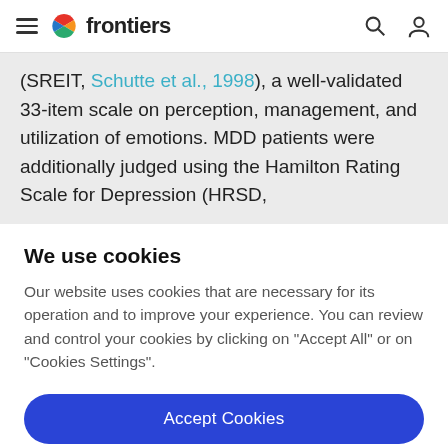frontiers (navigation bar with hamburger menu, logo, search and user icons)
(SREIT, Schutte et al., 1998), a well-validated 33-item scale on perception, management, and utilization of emotions. MDD patients were additionally judged using the Hamilton Rating Scale for Depression (HRSD,
We use cookies
Our website uses cookies that are necessary for its operation and to improve your experience. You can review and control your cookies by clicking on "Accept All" or on "Cookies Settings".
Accept Cookies
Cookies Settings